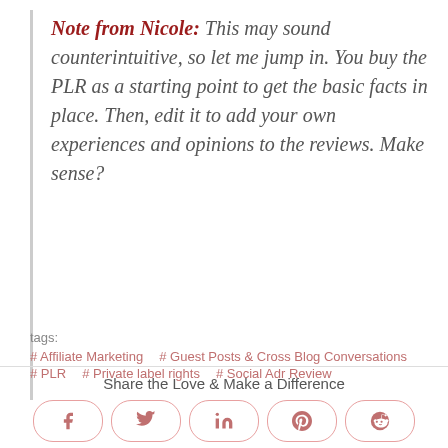Note from Nicole: This may sound counterintuitive, so let me jump in. You buy the PLR as a starting point to get the basic facts in place. Then, edit it to add your own experiences and opinions to the reviews. Make sense?
tags:
# Affiliate Marketing  # Guest Posts & Cross Blog Conversations  # PLR  # Private label rights  # Social Adr Review
Share the Love & Make a Difference